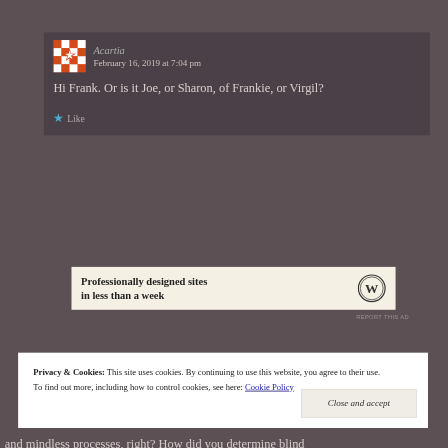Acartia
February 16, 2019 at 7:04 pm
Hi Frank. Or is it Joe, or Sharon, of Frankie, or Virgil?
Like
[Figure (infographic): WordPress advertisement banner: 'Professionally designed sites in less than a week' with WordPress logo]
REPORT THIS AD
Privacy & Cookies: This site uses cookies. By continuing to use this website, you agree to their use. To find out more, including how to control cookies, see here: Cookie Policy
Close and accept
and mindless processes, right? How did you determine blind